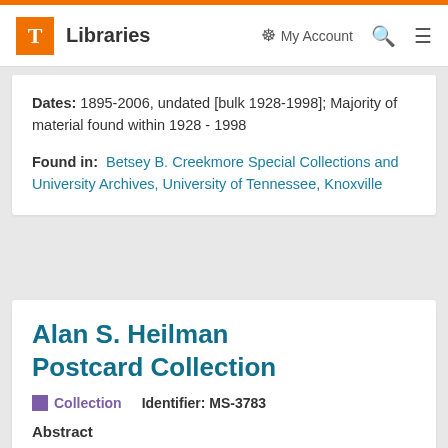T Libraries | My Account | Search | Menu
Dates: 1895-2006, undated [bulk 1928-1998]; Majority of material found within 1928 - 1998
Found in: Betsey B. Creekmore Special Collections and University Archives, University of Tennessee, Knoxville
Alan S. Heilman Postcard Collection
Collection   Identifier: MS-3783
Abstract